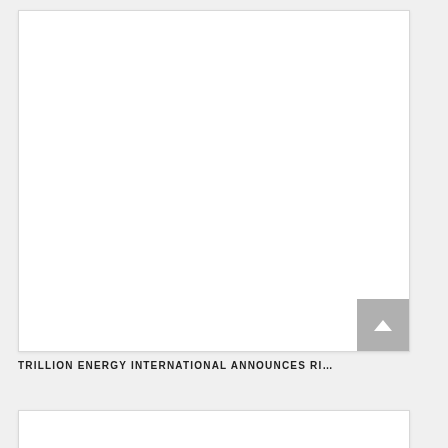[Figure (other): White card/image placeholder area at the top of the page]
TRILLION ENERGY INTERNATIONAL ANNOUNCES RI...
[Figure (other): Second white card/image placeholder area at the bottom of the page]